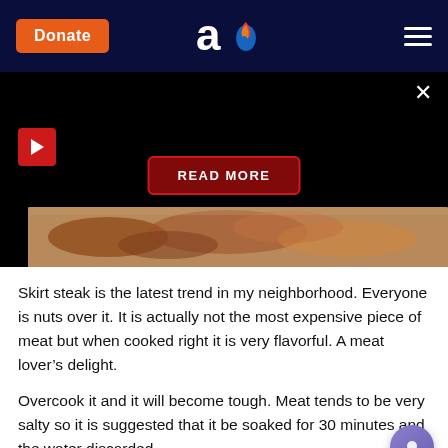Donate | [logo] | [menu]
[Figure (screenshot): Dark video/ad block with red play button top left, red 'READ MORE' button center, close X top right, and partial meat image strip at bottom]
Skirt steak is the latest trend in my neighborhood. Everyone is nuts over it. It is actually not the most expensive piece of meat but when cooked right it is very flavorful. A meat lover’s delight.
Overcook it and it will become tough. Meat tends to be very salty so it is suggested that it be soaked for 30 minutes and the water discarded.